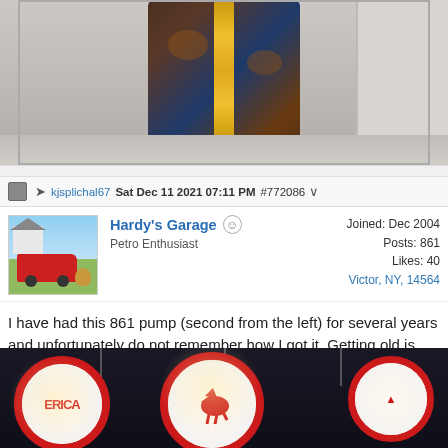[Figure (photo): Antique gas pump with rusty blue body and gold vertical stripe, photographed in front of a garage door on concrete]
kjsplichal67  Sat Dec 11 2021 07:11 PM  #772086
Hardy's Garage
Petro Enthusiast
Joined: Dec 2004
Posts: 861
Likes: 40
Victor, NY, 14564
I have had this 861 pump (second from the left) for several years and unfortunately do not remember how I got it. Getting old is taking a toll on my memory.
[Figure (photo): Hanging gas station globe signs including Mobilgas Pegasus and American signs, illuminated, hanging from ceiling]